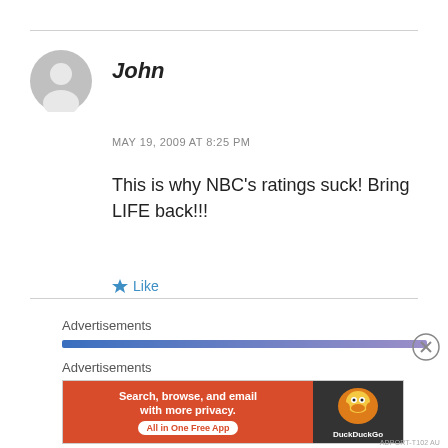[Figure (illustration): Gray circular avatar placeholder icon for user 'John']
John
MAY 19, 2009 AT 8:25 PM
This is why NBC’s ratings suck! Bring LIFE back!!!
★ Like
Advertisements
[Figure (illustration): Blue-to-purple horizontal gradient bar (advertisement loading bar)]
Advertisements
[Figure (screenshot): DuckDuckGo advertisement banner: orange left panel with text 'Search, browse, and email with more privacy. All in One Free App', dark right panel with DuckDuckGo duck logo and brand name]
ADPORT-T102 AU